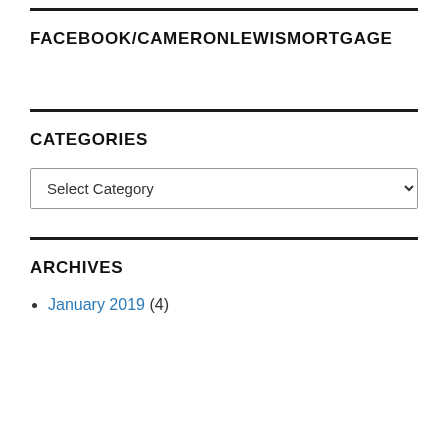FACEBOOK/CAMERONLEWISMORTGAGE
CATEGORIES
Select Category
ARCHIVES
January 2019 (4)